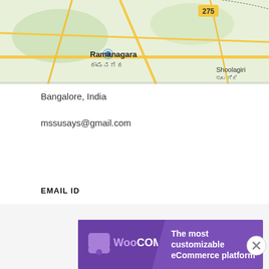[Figure (map): Google Maps view showing Bangalore area with Ramanagara, Hosur, and Shoolaqiri locations marked]
Bangalore, India
mssusays@gmail.com
EMAIL ID
mssusays@gmail.com
RESTAURANT REVIEWS
[Figure (photo): Dark preview image of restaurant]
Advertisements
[Figure (screenshot): WooCommerce advertisement: The most customizable eCommerce platform]